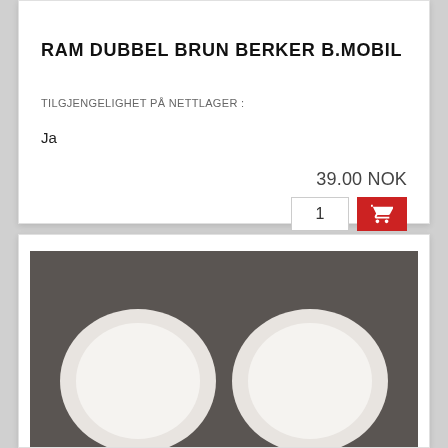RAM DUBBEL BRUN BERKER B.MOBIL
TILGJENGELIGHET PÅ NETTLAGER :
Ja
39.00 NOK
[Figure (photo): Product photo of a brown double frame (RAM DUBBEL BRUN BERKER B.MOBIL) showing two circular cutouts side by side in a rectangular dark brown frame]
1